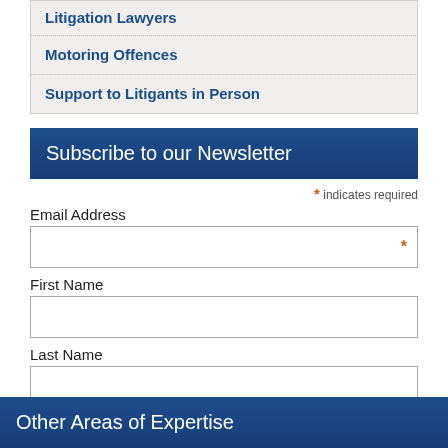Litigation Lawyers
Motoring Offences
Support to Litigants in Person
Subscribe to our Newsletter
* indicates required
Email Address
First Name
Last Name
Subscribe
Other Areas of Expertise